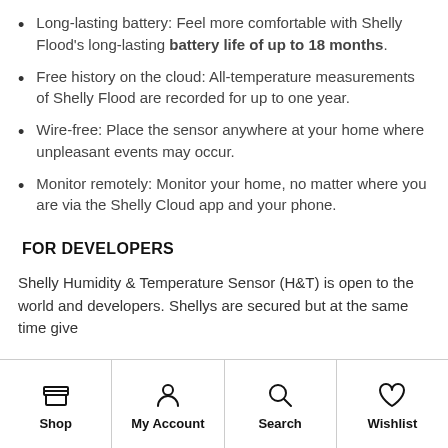Long-lasting battery: Feel more comfortable with Shelly Flood's long-lasting battery life of up to 18 months.
Free history on the cloud: All-temperature measurements of Shelly Flood are recorded for up to one year.
Wire-free: Place the sensor anywhere at your home where unpleasant events may occur.
Monitor remotely: Monitor your home, no matter where you are via the Shelly Cloud app and your phone.
FOR DEVELOPERS
Shelly Humidity & Temperature Sensor (H&T) is open to the world and developers. Shellys are secured but at the same time give
Shop  My Account  Search  Wishlist